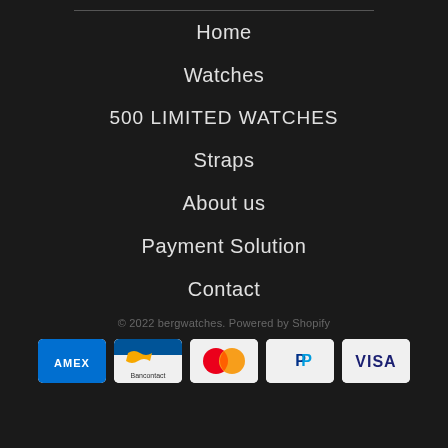Home
Watches
500 LIMITED WATCHES
Straps
About us
Payment Solution
Contact
© 2022 bergwatches. Powered by Shopify
[Figure (other): Payment method icons: American Express (AMEX), Bancontact, Mastercard, PayPal, Visa]